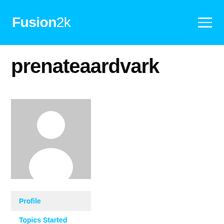Fusion2k
prenateaardvark
[Figure (illustration): Default grey avatar placeholder with white silhouette of a person]
Profile
Topics Started